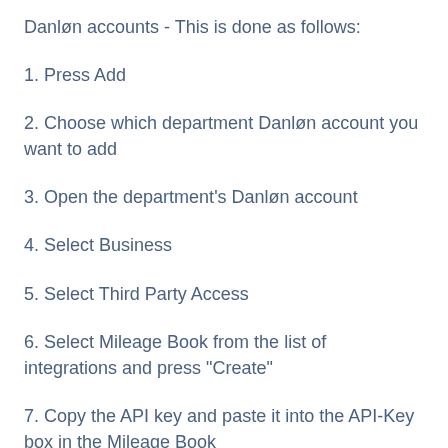Danløn accounts - This is done as follows:
1. Press Add
2. Choose which department Danløn account you want to add
3. Open the department's Danløn account
4. Select Business
5. Select Third Party Access
6. Select Mileage Book from the list of integrations and press "Create"
7. Copy the API key and paste it into the API-Key box in the Mileage Book